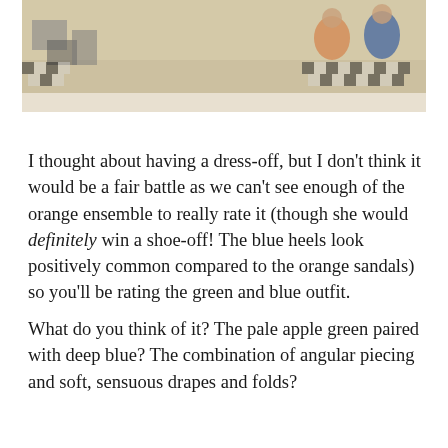[Figure (illustration): A vintage illustration showing two figures in costumes on a checkered floor. Caption reads 'Costume - 1929' on the left, 'No. 1749' in center, and 'Costume Designer Corporation N.Y. Printed U.S.A.' on the right.]
Costume — 1929    No. 1749    Costume Designer Corporation N.Y. Printed U.S.A.
I thought about having a dress-off, but I don't think it would be a fair battle as we can't see enough of the orange ensemble to really rate it (though she would definitely win a shoe-off!  The blue heels look positively common compared to the orange sandals) so you'll be rating the green and blue outfit.
What do you think of it?  The pale apple green paired with deep blue?  The combination of angular piecing and soft, sensuous drapes and folds?